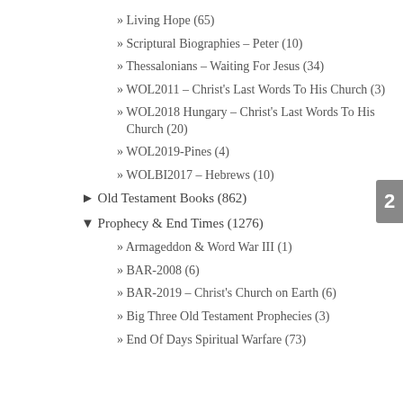» Living Hope (65)
» Scriptural Biographies – Peter (10)
» Thessalonians – Waiting For Jesus (34)
» WOL2011 – Christ's Last Words To His Church (3)
» WOL2018 Hungary – Christ's Last Words To His Church (20)
» WOL2019-Pines (4)
» WOLBI2017 – Hebrews (10)
► Old Testament Books (862)
▼ Prophecy & End Times (1276)
» Armageddon & Word War III (1)
» BAR-2008 (6)
» BAR-2019 – Christ's Church on Earth (6)
» Big Three Old Testament Prophecies (3)
» End Of Days Spiritual Warfare (73)